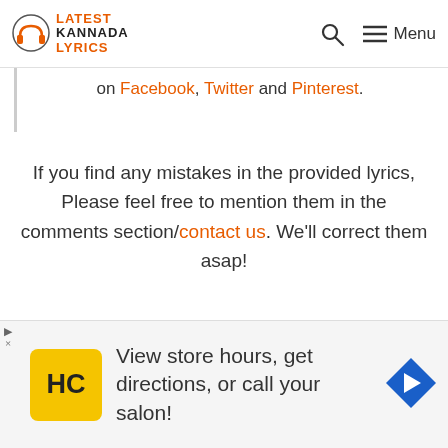Latest Kannada Lyrics — Menu
on Facebook, Twitter and Pinterest.
If you find any mistakes in the provided lyrics, Please feel free to mention them in the comments section/contact us. We'll correct them asap!
Submit a request for lyrics, if you were unable to find one for particular Kannada Song. If you are passionate or interested to submit lyrics to our site, you can do it by clicking here. For all Latest
[Figure (infographic): Advertisement banner: HC logo (yellow circle with HC text), text 'View store hours, get directions, or call your salon!', navigation arrow icon on right]